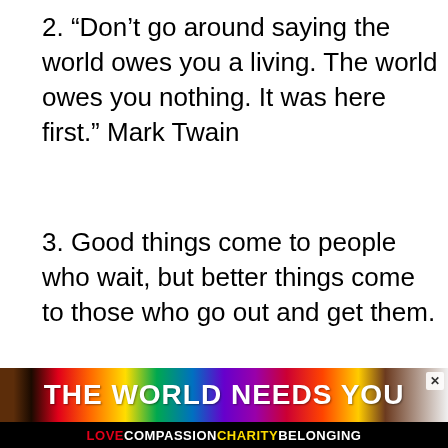2. “Don’t go around saying the world owes you a living. The world owes you nothing. It was here first.” Mark Twain
3. Good things come to people who wait, but better things come to those who go out and get them.
4. The secret to getting ahead is getting started.
[Figure (infographic): Advertisement banner with rainbow gradient background showing 'THE WORLD NEEDS YOU' text with a close button, and subtext 'LOVE COMPASSION CHARITY BELONGING' on black bar]
[Figure (infographic): Social media UI overlay: heart/like button (red circle with heart icon), like count 594, share button, and What's Next section showing thumbnail and 'Don't Chase Me Unless...' text]